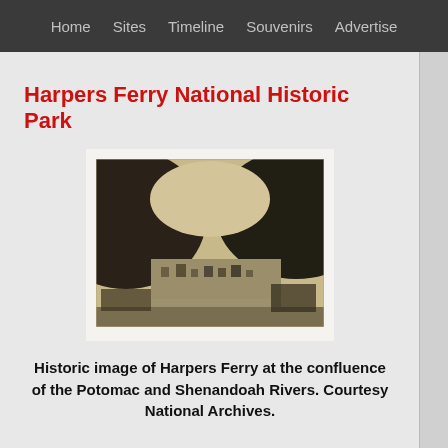Home   Sites   Timeline   Souvenirs   Advertise
Harpers Ferry National Historic Park
[Figure (photo): Historic black and white aerial/elevated photograph of Harpers Ferry town situated at the confluence of two rivers, surrounded by forested hills.]
Historic image of Harpers Ferry at the confluence of the Potomac and Shenandoah Rivers. Courtesy National Archives.